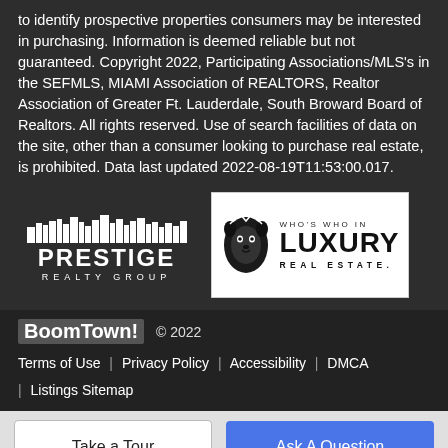to identify prospective properties consumers may be interested in purchasing. Information is deemed reliable but not guaranteed. Copyright 2022, Participating Associations/MLS's in the SEFMLS, MIAMI Association of REALTORS, Realtor Association of Greater Ft. Lauderdale, South Broward Board of Realtors. All rights reserved. Use of search facilities of data on the site, other than a consumer looking to purchase real estate, is prohibited. Data last updated 2022-08-19T11:53:00.017.
[Figure (logo): Prestige Realty Group logo — skyline silhouette above PRESTIGE in large bold white letters, REALTY GROUP below in spaced white letters, on dark background]
[Figure (logo): Who's Who In Luxury Real Estate logo — lion head illustration beside WHO'S WHO IN in small text, LUXURY in large bold text, REAL ESTATE. in spaced text, in white box]
BoomTown!  © 2022  Terms of Use | Privacy Policy | Accessibility | DMCA | Listings Sitemap
Take a Tour
Ask A Question